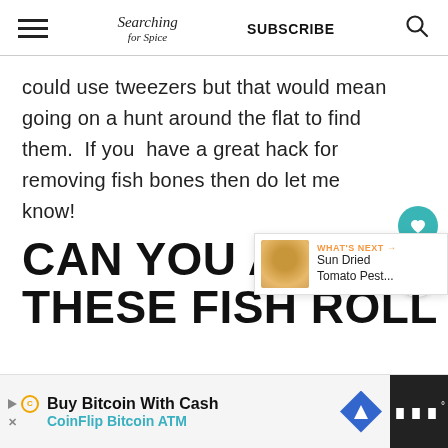Searching for Spice | SUBSCRIBE
could use tweezers but that would mean going on a hunt around the flat to find them.  If you  have a great hack for removing fish bones then do let me know!
CAN YOU ADAPT THESE FISH ROLL
WHAT'S NEXT → Sun Dried Tomato Pest...
Buy Bitcoin With Cash CoinFlip Bitcoin ATM